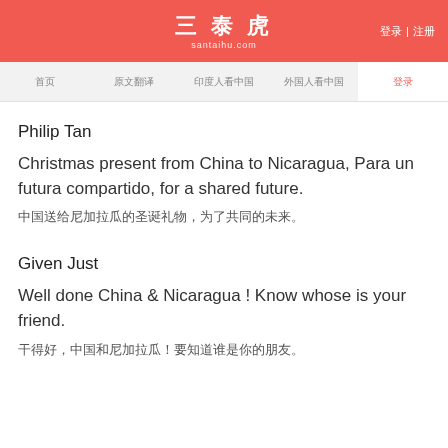三泰虎 santaihu.com | 登录 | 注册
首页 | 原文翻译 | 印度人看中国 | 外国人看中国 | 登录
Philip Tan
Christmas present from China to Nicaragua, Para un futura compartido, for a shared future.
中国送给尼加拉瓜的圣诞礼物，为了共同的未来。
Given Just
Well done China & Nicaragua ! Know whose is your friend.
干得好，中国和尼加拉瓜！要知道谁是你的朋友。